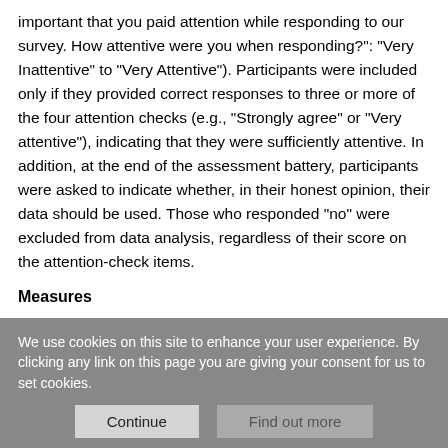important that you paid attention while responding to our survey. How attentive were you when responding?": "Very Inattentive" to "Very Attentive"). Participants were included only if they provided correct responses to three or more of the four attention checks (e.g., "Strongly agree" or "Very attentive"), indicating that they were sufficiently attentive. In addition, at the end of the assessment battery, participants were asked to indicate whether, in their honest opinion, their data should be used. Those who responded "no" were excluded from data analysis, regardless of their score on the attention-check items.
Measures
We use cookies on this site to enhance your user experience. By clicking any link on this page you are giving your consent for us to set cookies.